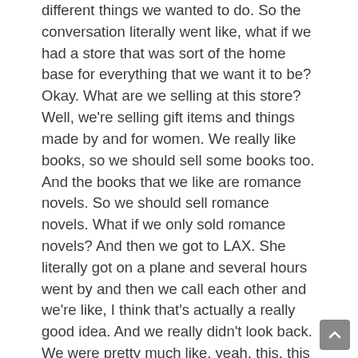different things we wanted to do. So the conversation literally went like, what if we had a store that was sort of the home base for everything that we want it to be? Okay. What are we selling at this store? Well, we're selling gift items and things made by and for women. We really like books, so we should sell some books too. And the books that we like are romance novels. So we should sell romance novels. What if we only sold romance novels? And then we got to LAX. She literally got on a plane and several hours went by and then we call each other and we're like, I think that's actually a really good idea. And we really didn't look back. We were pretty much like, yeah, this, this is a good idea. This is the benefit of youth. I'm still extremely young, but at that point I was very young. And we were, in the way of 21-year-olds, this is the greatest idea in the world and no one's going to tell us differently. And it's a good thing we did think that way, because if we'd been older, I really think we wouldn't have done it. We would have been talked out of it. Because so many people were like, this is a terrible idea. It was really full steam ahead for us. Don't stop. And so yeah, we do that. We open the